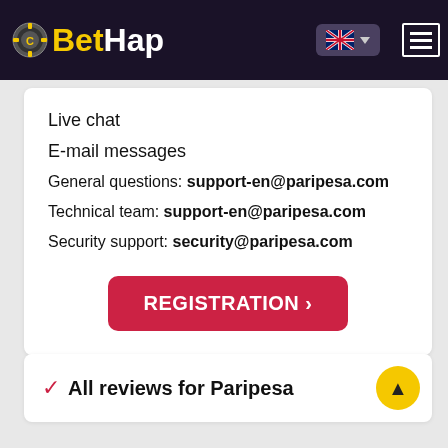[Figure (logo): BetHap logo with casino chip icon, yellow 'Bet' and white 'Hap' text on dark navy background, with UK flag language selector and hamburger menu]
Live chat
E-mail messages
General questions: support-en@paripesa.com
Technical team: support-en@paripesa.com
Security support: security@paripesa.com
REGISTRATION >
✓ All reviews for Paripesa